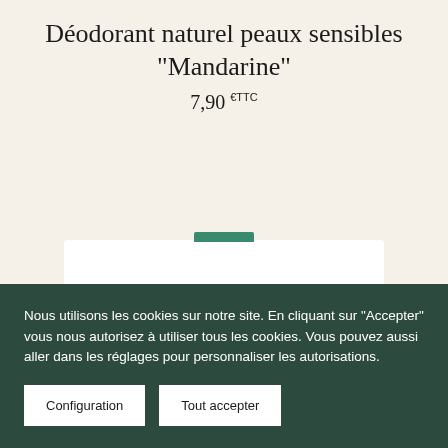Déodorant naturel peaux sensibles "Mandarine"
7,90 €TTC
[Figure (photo): Partial view of a white deodorant product box with a green lid element, on a light beige background]
Nous utilisons les cookies sur notre site. En cliquant sur "Accepter" vous nous autorisez à utiliser tous les cookies. Vous pouvez aussi aller dans les réglages pour personnaliser les autorisations.
Configuration
Tout accepter